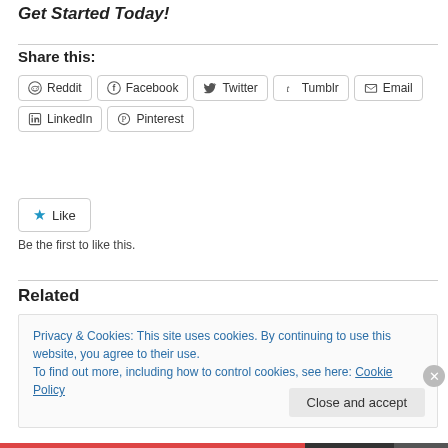Get Started Today!
Share this:
Reddit  Facebook  Twitter  Tumblr  Email  LinkedIn  Pinterest
Like
Be the first to like this.
Related
Privacy & Cookies: This site uses cookies. By continuing to use this website, you agree to their use.
To find out more, including how to control cookies, see here: Cookie Policy
Close and accept